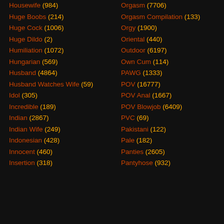Housewife (984)
Huge Boobs (214)
Huge Cock (1006)
Huge Dildo (2)
Humiliation (1072)
Hungarian (569)
Husband (4864)
Husband Watches Wife (59)
Idol (305)
Incredible (189)
Indian (2867)
Indian Wife (249)
Indonesian (428)
Innocent (460)
Insertion (318)
Orgasm (7706)
Orgasm Compilation (133)
Orgy (1900)
Oriental (440)
Outdoor (6197)
Own Cum (114)
PAWG (1333)
POV (16777)
POV Anal (1667)
POV Blowjob (6409)
PVC (69)
Pakistani (122)
Pale (182)
Panties (2605)
Pantyhose (932)